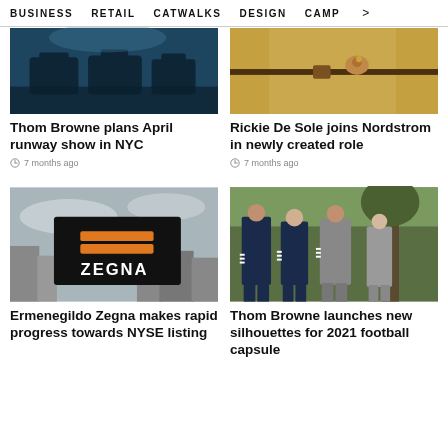BUSINESS   RETAIL   CATWALKS   DESIGN   CAMP  >
[Figure (photo): Dark photo showing luxury bags/luggage in a store]
Thom Browne plans April runway show in NYC
7 months ago
[Figure (photo): Close-up photo of person in camel coat with belt bag]
Rickie De Sole joins Nordstrom in newly created role
7 months ago
[Figure (photo): Black and white cityscape with ZEGNA billboard in orange]
Ermenegildo Zegna makes rapid progress towards NYSE listing
[Figure (photo): Group of models in navy and grey Thom Browne outfits outdoors]
Thom Browne launches new silhouettes for 2021 football capsule